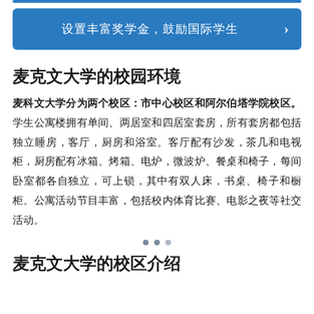[Figure (infographic): Blue banner with text: 设置丰富奖学金，鼓励国际学生 and a right arrow chevron]
麦克文大学的校园环境
麦科文大学分为两个校区：市中心校区和阿尔伯塔学院校区。学生公寓楼拥有单间、两居室和四居室套房，所有套房都包括独立睡房，客厅，厨房和浴室。客厅配有沙发，茶几和电视柜，厨房配有冰箱、烤箱、电炉，微波炉、餐桌和椅子，每间卧室都各自独立，可上锁，其中有双人床，书桌、椅子和橱柜。公寓活动节目丰富，包括校内体育比赛、电影之夜等社交活动。
麦克文大学的校区介绍